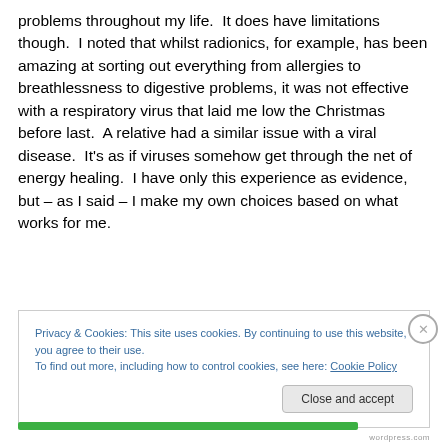problems throughout my life.  It does have limitations though.  I noted that whilst radionics, for example, has been amazing at sorting out everything from allergies to breathlessness to digestive problems, it was not effective with a respiratory virus that laid me low the Christmas before last.  A relative had a similar issue with a viral disease.  It's as if viruses somehow get through the net of energy healing.  I have only this experience as evidence, but – as I said – I make my own choices based on what works for me.
Privacy & Cookies: This site uses cookies. By continuing to use this website, you agree to their use.
To find out more, including how to control cookies, see here: Cookie Policy